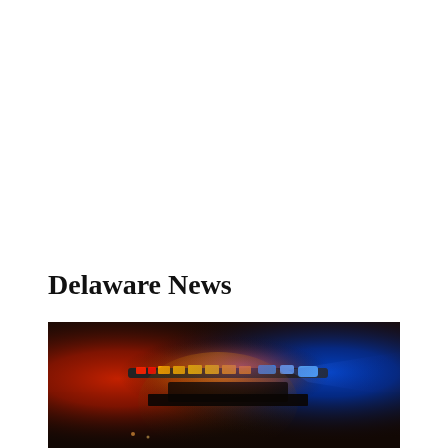Delaware News
[Figure (photo): Night-time photo of police car light bar with red, orange, and blue emergency lights flashing against a dark background]